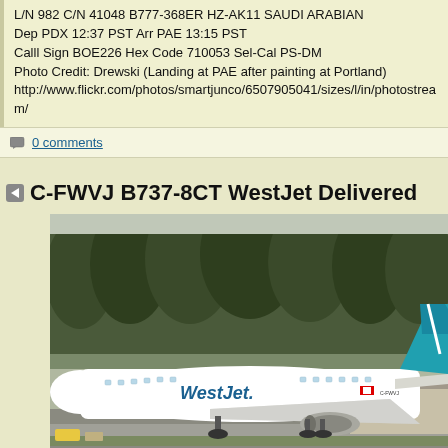L/N 982 C/N 41048 B777-368ER HZ-AK11 SAUDI ARABIAN
Dep PDX 12:37 PST Arr PAE 13:15 PST
Calll Sign BOE226 Hex Code 710053 Sel-Cal PS-DM
Photo Credit: Drewski (Landing at PAE after painting at Portland)
http://www.flickr.com/photos/smartjunco/6507905041/sizes/l/in/photostream/
0 comments
C-FWVJ B737-8CT WestJet Delivered
[Figure (photo): WestJet Boeing 737-8CT aircraft (registration C-FWVJ) taxiing on a runway at Paine Field (PAE), Everett, Washington. The white aircraft features WestJet livery with teal/blue tail. Trees visible in background.]